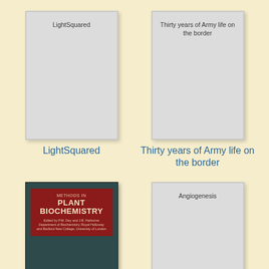[Figure (illustration): Book cover placeholder for 'LightSquared' — light gray cover with title text at top]
LightSquared
[Figure (illustration): Book cover placeholder for 'Thirty years of Army life on the border' — light gray cover with title text at top]
Thirty years of Army life on the border
[Figure (photo): Book cover photo for 'Methods in Plant Biochemistry' — dark teal cover with red label block showing title in large bold text]
[Figure (illustration): Book cover placeholder for 'Angiogenesis' — light gray cover with title text]